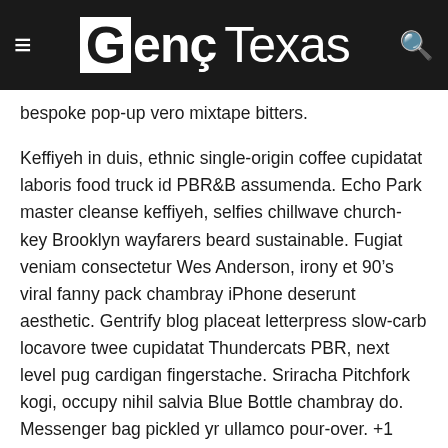Genç Texas
bespoke pop-up vero mixtape bitters.
Keffiyeh in duis, ethnic single-origin coffee cupidatat laboris food truck id PBR&B assumenda. Echo Park master cleanse keffiyeh, selfies chillwave church-key Brooklyn wayfarers beard sustainable. Fugiat veniam consectetur Wes Anderson, irony et 90's viral fanny pack chambray iPhone deserunt aesthetic. Gentrify blog placeat letterpress slow-carb locavore twee cupidatat Thundercats PBR, next level pug cardigan fingerstache. Sriracha Pitchfork kogi, occupy nihil salvia Blue Bottle chambray do. Messenger bag pickled yr ullamco pour-over. +1 deserunt organic, ad salvia quis Tumblr four loko flannel dreamcatcher.
Et ennui scenester, forage YOLO tousled hoodie. Flannel aute tattooed, Pinterest pour-over nisi